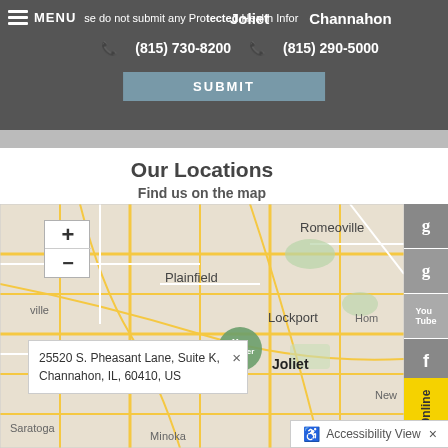MENU  Please do not submit any Protected Health Information.  Joliet  Channahon  (815) 730-8200  (815) 290-5000  SUBMIT
Our Locations
Find us on the map
[Figure (map): Interactive map showing Joliet, Channahon area in Illinois with towns: Romeoville, Plainfield, Lockport, Joliet, Saratoga, Minooka. Map marker shown near Channahon. Zoom +/- controls on left.]
25520 S. Pheasant Lane, Suite K, Channahon, IL, 60410, US
Accessibility View